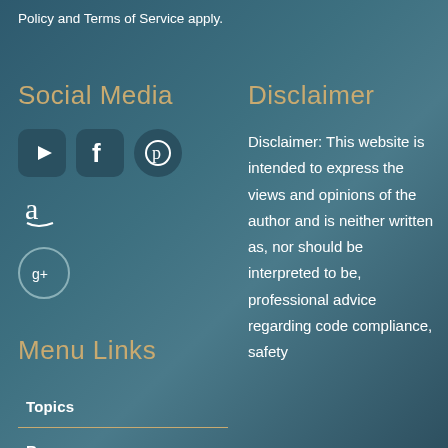Policy and Terms of Service apply.
Social Media
[Figure (illustration): Social media icons: YouTube, Facebook, Pinterest, Amazon, Google+]
Menu Links
Topics
Resources
Disclaimer
Disclaimer: This website is intended to express the views and opinions of the author and is neither written as, nor should be interpreted to be, professional advice regarding code compliance, safety